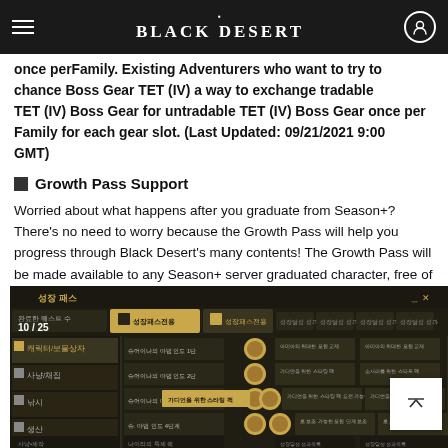Black Desert (navigation bar with hamburger menu and user icon)
once perFamily. Existing Adventurers who want to try to chance Boss Gear TET (IV) a way to exchange tradable TET (IV) Boss Gear for untradable TET (IV) Boss Gear once per Family for each gear slot. (Last Updated: 09/21/2021 9:00 GMT)
Growth Pass Support
Worried about what happens after you graduate from Season+? There's no need to worry because the Growth Pass will help you progress through Black Desert's many contents! The Growth Pass will be made available to any Season+ server graduated character, free of purchase. Make sure to check it out on September 29!
[Figure (screenshot): In-game screenshot of the Black Desert Growth Pass (성장 패스) UI window showing quest progression, categories on the left (캐릭터/보물상자, 사냥/채집, 낚시), and reward items on the right with Korean text, featuring a dark game UI theme with gold accents. A white scroll-to-top button is overlaid in the bottom right corner.]